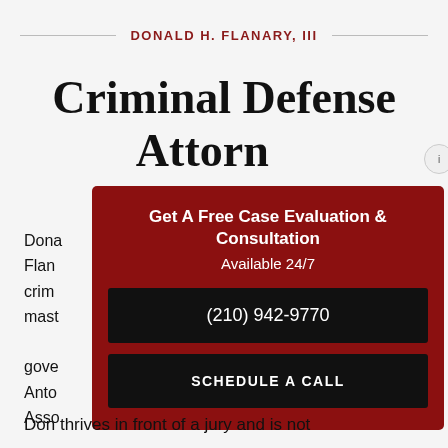DONALD H. FLANARY, III
Criminal Defense Attorney
Dona... Flan... crim... mast... gove... Anto... Asso...
[Figure (infographic): Red popup overlay with 'Get A Free Case Evaluation & Consultation' heading, 'Available 24/7' subtitle, phone number (210) 942-9770 button, and SCHEDULE A CALL button. Has a close button in top right corner.]
Don thrives in front of a jury and is not